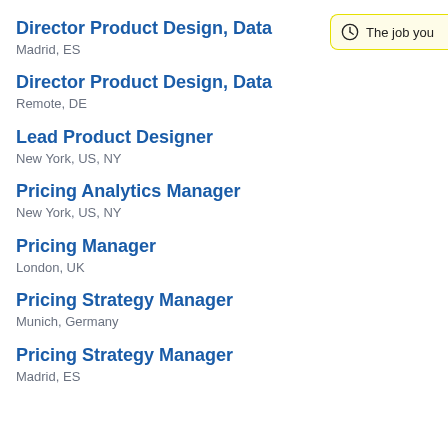Director Product Design, Data
Madrid, ES
[Figure (other): Toast notification with clock icon reading 'The job you']
Director Product Design, Data
Remote, DE
Lead Product Designer
New York, US, NY
Pricing Analytics Manager
New York, US, NY
Pricing Manager
London, UK
Pricing Strategy Manager
Munich, Germany
Pricing Strategy Manager
Madrid, ES